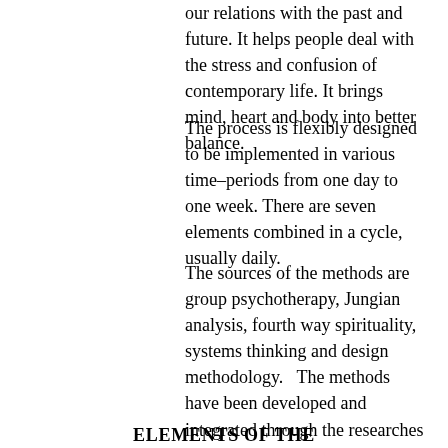our relations with the past and future. It helps people deal with the stress and confusion of contemporary life. It brings mind, heart and body into better balance.
The process is flexibly designed to be implemented in various time–periods from one day to one week. There are seven elements combined in a cycle, usually daily.
The sources of the methods are group psychotherapy, Jungian analysis, fourth way spirituality, systems thinking and design methodology.   The methods have been developed and integrated through the researches of the DuVersity.
ELEMENTS OF THE